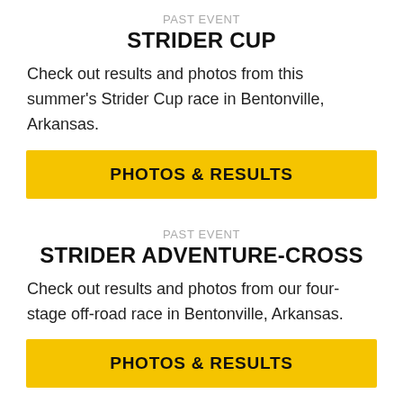PAST EVENT
STRIDER CUP
Check out results and photos from this summer's Strider Cup race in Bentonville, Arkansas.
PHOTOS & RESULTS
PAST EVENT
STRIDER ADVENTURE-CROSS
Check out results and photos from our four-stage off-road race in Bentonville, Arkansas.
PHOTOS & RESULTS
PAST EVENT
STRIDER DISCOVERY RIDE